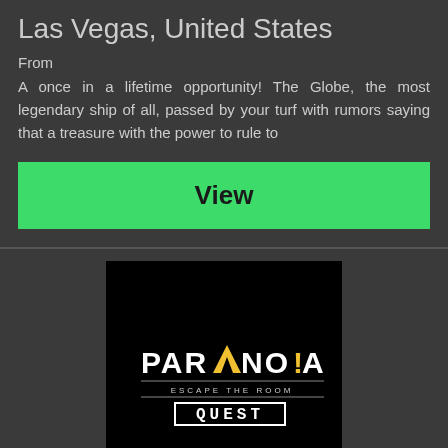Las Vegas, United States
From
A once in a lifetime opportunity! The Globe, the most legendary ship of all, passed by your turf with rumors saying that a treasure with the power to rule to
View
[Figure (logo): Paranoia Quest - Escape The Room logo on black background, showing stylized text with triangle graphic]
Paranoia Quest - Enhanced Zombie Apocalipse